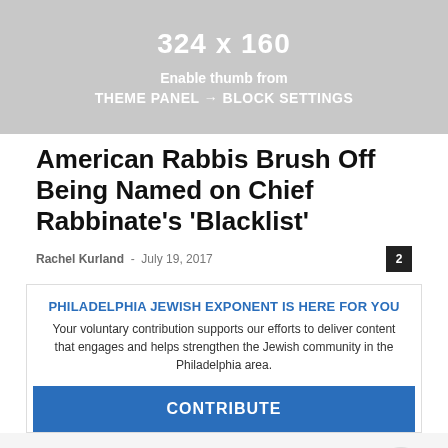[Figure (illustration): Gray placeholder image with text '324 x 160', 'Enable thumb from', 'THEME PANEL + BLOCK SETTINGS']
American Rabbis Brush Off Being Named on Chief Rabbinate's ‘Blacklist’
Rachel Kurland · July 19, 2017
PHILADELPHIA JEWISH EXPONENT IS HERE FOR YOU
Your voluntary contribution supports our efforts to deliver content that engages and helps strengthen the Jewish community in the Philadelphia area.
CONTRIBUTE
[Figure (photo): Partially visible blurred image at bottom of page with avatar silhouette on right]